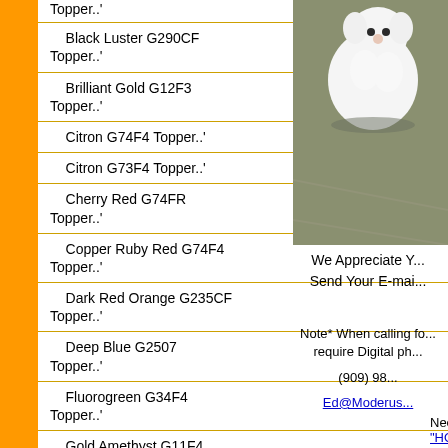Topper..'
Black Luster G290CF Topper..'
Brilliant Gold G12F3 Topper..'
Citron G74F4 Topper..'
Citron G73F4 Topper..'
Cherry Red G74FR Topper..'
Copper Ruby Red G74F4 Topper..'
Dark Red Orange G235CF Topper..'
Deep Blue G2507 Topper..'
Fluorogreen G34F4 Topper..'
Gold Amethyst G11F4 Topper..
[Figure (photo): Small white fluffy dog sitting on pavement, partially visible on right side of page]
We Appreciate Y... Send Your E-mai...
Note* When calling fo... require Digital ph...
(909) 98...
Ed@Moderus...
Need to know how much you need "HOW MUCH DO I NEED PAGE"